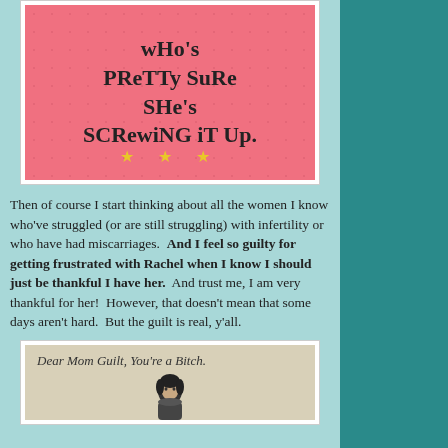[Figure (illustration): Pink card with floral pattern background and handwritten-style text reading 'who's pretty sure she's screwing it up' with decorative star symbols at bottom]
Then of course I start thinking about all the women I know who've struggled (or are still struggling) with infertility or who have had miscarriages.  And I feel so guilty for getting frustrated with Rachel when I know I should just be thankful I have her.  And trust me, I am very thankful for her!  However, that doesn't mean that some days aren't hard.  But the guilt is real, y'all.
[Figure (illustration): Beige card with text 'Dear Mom Guilt, You're a Bitch.' and a black and white illustration of a woman below]